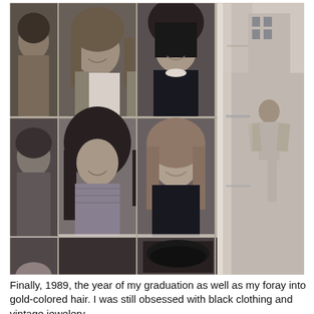[Figure (photo): A scanned yearbook page from 1989 showing a grid of black-and-white student portrait photos arranged in three rows. The left portion shows 6+ individual student headshots in a grid layout. The right side shows a separate photo of a person standing outdoors near a building. The page appears to be from a physical yearbook being photographed, with some blur and page curl visible on the right side.]
Finally, 1989, the year of my graduation as well as my foray into gold-colored hair. I was still obsessed with black clothing and vintage jewelery.
The crappy quality of the printing in our yearbook makes it seem as if I was a head without a body.
My eyebrows look as if they are planning a coup against the